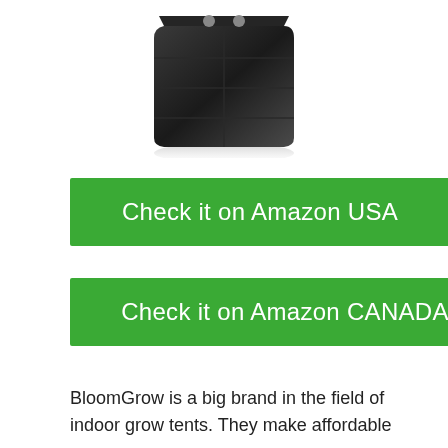[Figure (photo): Black grow tent / bag product photo on white background, partially cropped at top]
Check it on Amazon USA
Check it on Amazon CANADA
BloomGrow is a big brand in the field of indoor grow tents. They make affordable